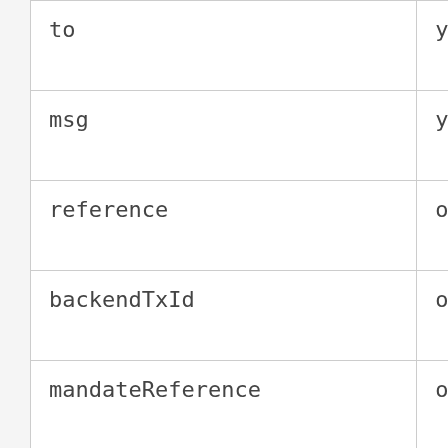| to | yes |
| msg | yes |
| reference | optional |
| backendTxId | optional |
| mandateReference | optional |
| ... | optional |